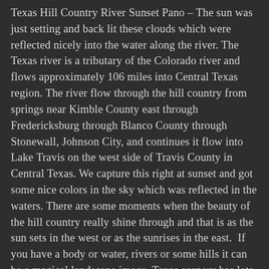Texas Hill Country River Sunset Pano – The sun was just setting and back lit these clouds which were reflected nicely into the water along the river. The Texas river is a tributary of the Colorado river and flows approximately 106 miles into Central Texas region. The river flow through the hill country from springs near Kimble County east through Fredericksburg through Blanco County through Stonewall, Johnson City, and continues it flow into Lake Travis on the west side of Travis County in Central Texas. We capture this right at sunset and got some nice colors in the sky which was reflected in the waters. There are some moments when the beauty of the hill country really shine through and that is as the sun sets in the west or as the sunrises in the east.  If you have a body or water, rivers or some hills it can be a magical landscape image. Texas scenery has lots of variety it can go from the desert landscape to the swamps of east Texas, or mountains of big bend to the farmland in the heart of the state. No matter where you go the scenery will change to something new and exciting.